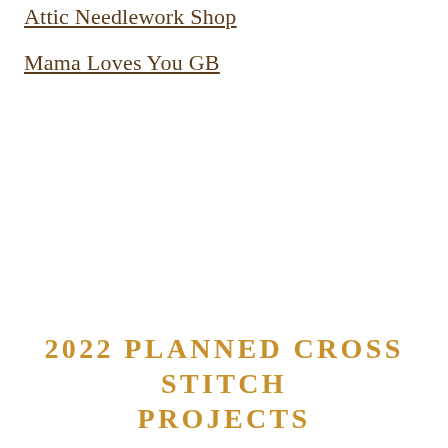Attic Needlework Shop
Mama Loves You GB
2022 PLANNED CROSS STITCH PROJECTS